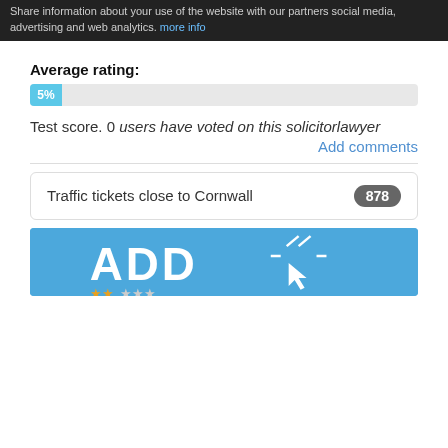Share information about your use of the website with our partners social media, advertising and web analytics. more info
Average rating:
[Figure (other): Progress bar showing 5% rating]
Test score. 0 users have voted on this solicitorlawyer
Add comments
Traffic tickets close to Cornwall   878
[Figure (illustration): Blue banner with ADD text and cursor icon]